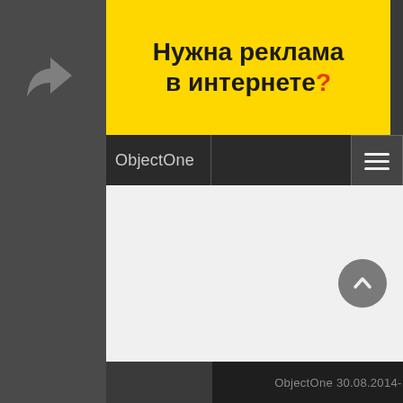[Figure (screenshot): Screenshot of a website with a yellow advertisement banner reading 'Нужна реклама в интернете?' (Need advertising on the internet?), a dark navigation bar with 'ObjectOne' logo and hamburger menu, a light gray content area, a scroll-to-top button, and a dark footer with 'ObjectOne 30.08.2014- 2022' text. A share/back arrow icon appears in the left sidebar.]
ObjectOne 30.08.2014- 2022 🌐